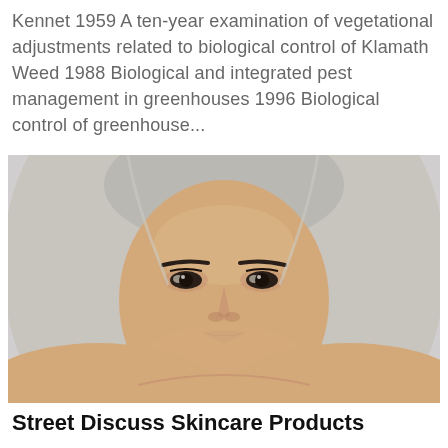Kennet 1959 A ten-year examination of vegetational adjustments related to biological control of Klamath Weed 1988 Biological and integrated pest management in greenhouses 1996 Biological control of greenhouse...
[Figure (photo): Close-up portrait photo of a woman with platinum blonde straight hair, prominent eyebrows, and bare shoulders against a light grey background]
Street Discuss Skincare Products